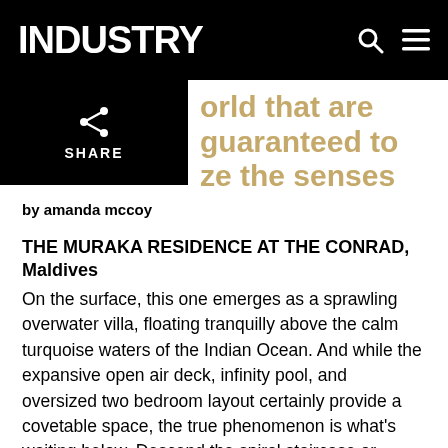INDUSTRY
orld that are guaranteed to ze the senses
by amanda mccoy
THE MURAKA RESIDENCE AT THE CONRAD, Maldives
On the surface, this one emerges as a sprawling overwater villa, floating tranquilly above the calm turquoise waters of the Indian Ocean. And while the expansive open air deck, infinity pool, and oversized two bedroom layout certainly provide a covetable space, the true phenomenon is what's waiting below. Descend the spiral staircase or